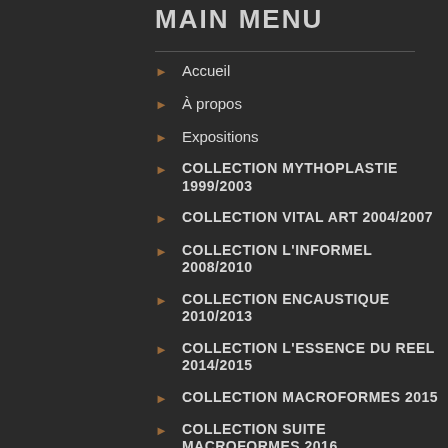MAIN MENU
Accueil
À propos
Expositions
COLLECTION MYTHOPLASTIE 1999/2003
COLLECTION VITAL ART 2004/2007
COLLECTION L'INFORMEL 2008/2010
COLLECTION ENCAUSTIQUE 2010/2013
COLLECTION L'ESSENCE DU REEL 2014/2015
COLLECTION MACROFORMES 2015
COLLECTION SUITE MACROFORMES 2016